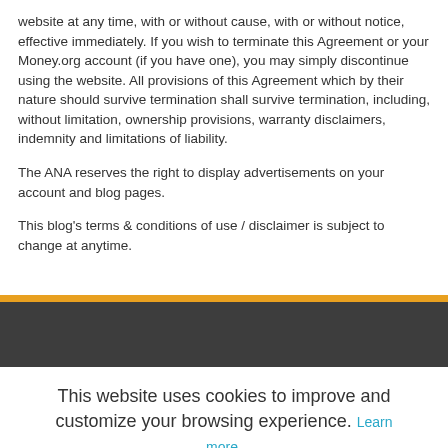website at any time, with or without cause, with or without notice, effective immediately. If you wish to terminate this Agreement or your Money.org account (if you have one), you may simply discontinue using the website. All provisions of this Agreement which by their nature should survive termination shall survive termination, including, without limitation, ownership provisions, warranty disclaimers, indemnity and limitations of liability.
The ANA reserves the right to display advertisements on your account and blog pages.
This blog's terms & conditions of use / disclaimer is subject to change at anytime.
This website uses cookies to improve and customize your browsing experience. Learn more.
GOT IT!